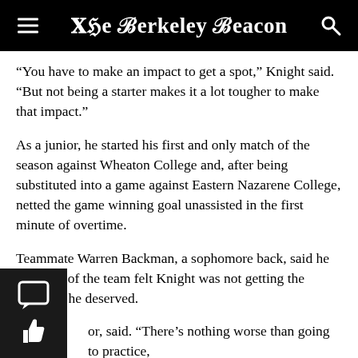The Berkeley Beacon
“You have to make an impact to get a spot,” Knight said. “But not being a starter makes it a lot tougher to make that impact.”
As a junior, he started his first and only match of the season against Wheaton College and, after being substituted into a game against Eastern Nazarene College, netted the game winning goal unassisted in the first minute of overtime.
Teammate Warren Backman, a sophomore back, said he and a lot of the team felt Knight was not getting the playtime he deserved.
“We didn’t really get it,” Backman, a visual and media arts or, said. “There’s nothing worse than going to practice, king hard, being part of the team, and then once game e comes and you’re excited and ready to play, you’re